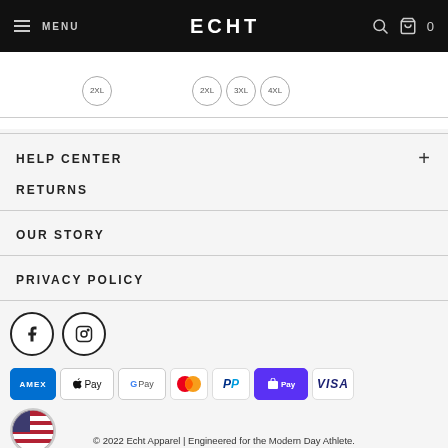MENU | ECHT | 0
[Figure (screenshot): Size selector circles showing 2XL, 2XL, 3XL, 4XL badges]
HELP CENTER +
RETURNS
OUR STORY
PRIVACY POLICY
[Figure (illustration): Facebook and Instagram social media icon circles]
[Figure (infographic): Payment method logos: AMEX, Apple Pay, G Pay, Mastercard, PayPal, Shop Pay, VISA]
[Figure (logo): US flag circle icon for country selector]
© 2022 Echt Apparel | Engineered for the Modern Day Athlete.